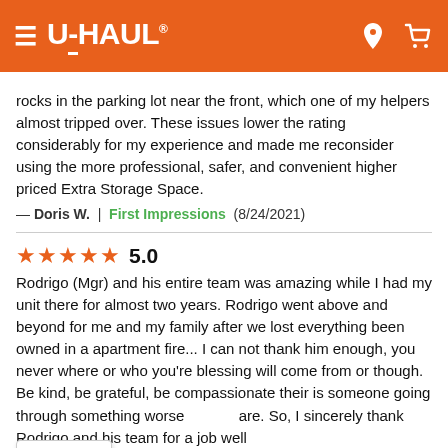U-HAUL
rocks in the parking lot near the front, which one of my helpers almost tripped over. These issues lower the rating considerably for my experience and made me reconsider using the more professional, safer, and convenient higher priced Extra Storage Space.
— Doris W. | First Impressions (8/24/2021)
★★★★★ 5.0
Rodrigo (Mgr) and his entire team was amazing while I had my unit there for almost two years. Rodrigo went above and beyond for me and my family after we lost everything been owned in a apartment fire... I can not thank him enough, you never where or who you're blessing will come from or though. Be kind, be grateful, be compassionate their is someone going through something worse are. So, I sincerely thank Rodrigo and his team for a job well
G. | Overall Experience (8/20/2021)